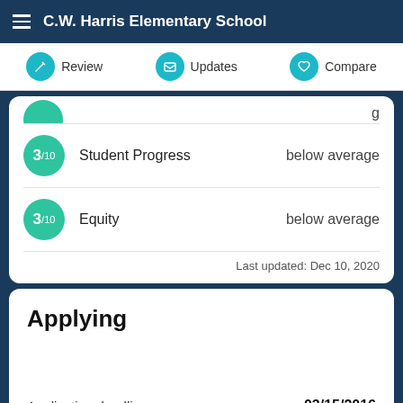C.W. Harris Elementary School
Review  Updates  Compare
3/10  Student Progress  below average
3/10  Equity  below average
Last updated: Dec 10, 2020
Applying
Application deadline  03/15/2016
What you need to apply